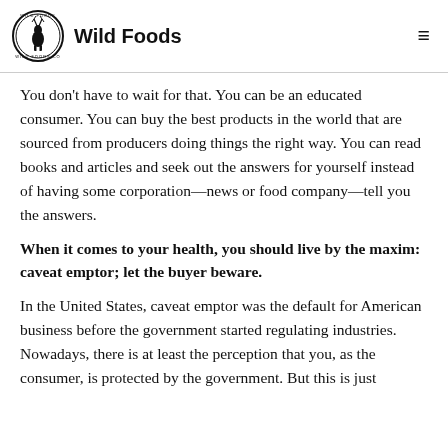Wild Foods
You don't have to wait for that. You can be an educated consumer. You can buy the best products in the world that are sourced from producers doing things the right way. You can read books and articles and seek out the answers for yourself instead of having some corporation—news or food company—tell you the answers.
When it comes to your health, you should live by the maxim: caveat emptor; let the buyer beware.
In the United States, caveat emptor was the default for American business before the government started regulating industries. Nowadays, there is at least the perception that you, as the consumer, is protected by the government. But this is just